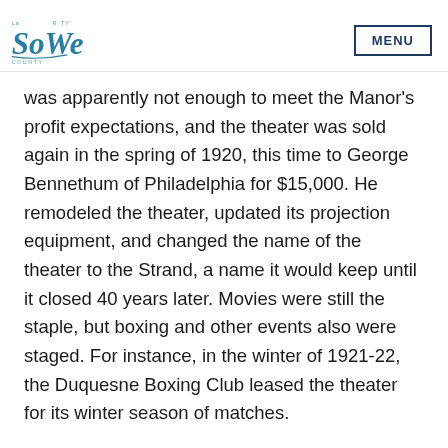LaSalle County | MENU
was apparently not enough to meet the Manor's profit expectations, and the theater was sold again in the spring of 1920, this time to George Bennethum of Philadelphia for $15,000. He remodeled the theater, updated its projection equipment, and changed the name of the theater to the Strand, a name it would keep until it closed 40 years later. Movies were still the staple, but boxing and other events also were staged. For instance, in the winter of 1921-22, the Duquesne Boxing Club leased the theater for its winter season of matches.
In 1929, the Strand Theater would be...